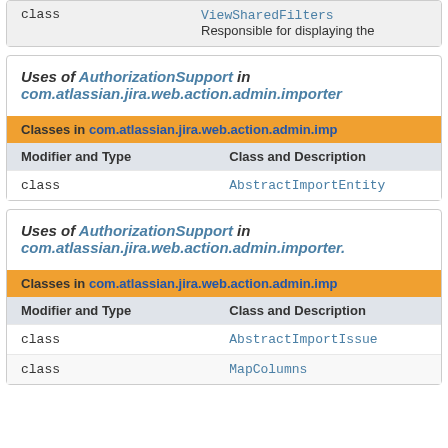| Modifier and Type | Class and Description |
| --- | --- |
| class | ViewSharedFilters
Responsible for displaying the |
Uses of AuthorizationSupport in com.atlassian.jira.web.action.admin.importer
| Modifier and Type | Class and Description |
| --- | --- |
| class | AbstractImportEntity |
Uses of AuthorizationSupport in com.atlassian.jira.web.action.admin.importer
| Modifier and Type | Class and Description |
| --- | --- |
| class | AbstractImportIssue |
| class | MapColumns |